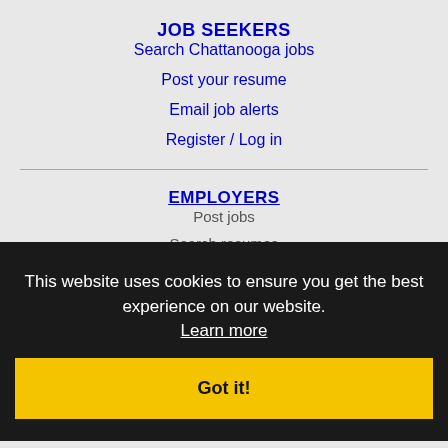JOB SEEKERS
Search Chattanooga jobs
Post your resume
Email job alerts
Register / Log in
EMPLOYERS
Post jobs
Search resumes
Email resume alerts
Advertise
IMMIGRATION SPECIALISTS
Post jobs
This website uses cookies to ensure you get the best experience on our website. Learn more
Got it!